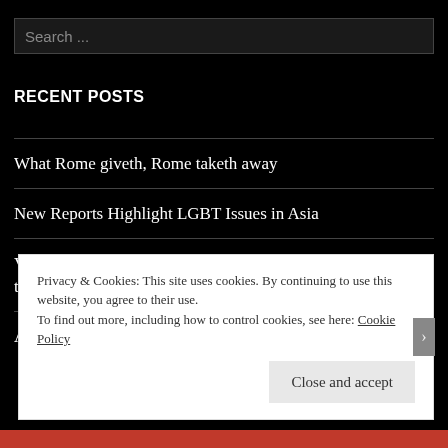Search ...
RECENT POSTS
What Rome giveth, Rome taketh away
New Reports Highlight LGBT Issues in Asia
Vatican moving toward more compassion for LGBT and non-traditional families?
Advances and Retreats in Equality
Privacy & Cookies: This site uses cookies. By continuing to use this website, you agree to their use. To find out more, including how to control cookies, see here: Cookie Policy
Close and accept